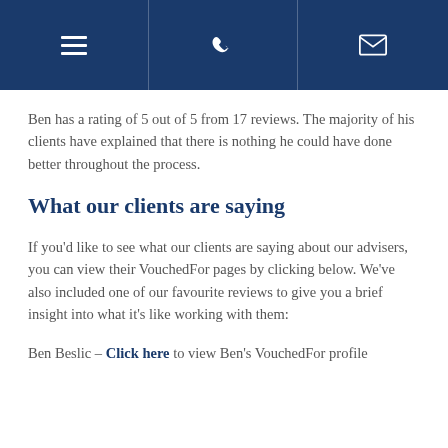[Navigation bar with hamburger menu, phone, and email icons]
Ben has a rating of 5 out of 5 from 17 reviews. The majority of his clients have explained that there is nothing he could have done better throughout the process.
What our clients are saying
If you'd like to see what our clients are saying about our advisers, you can view their VouchedFor pages by clicking below. We've also included one of our favourite reviews to give you a brief insight into what it's like working with them:
Ben Beslic – Click here to view Ben's VouchedFor profile